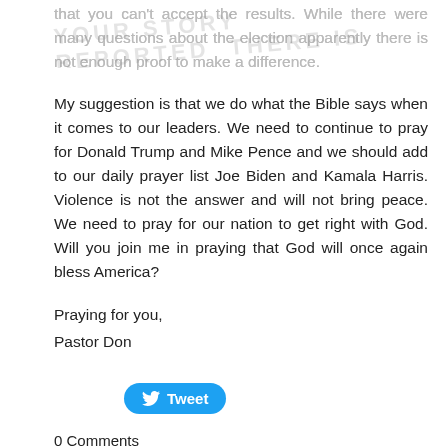that you can't accept the results. While there were many questions about the election apparently there is not enough proof to make a difference.
My suggestion is that we do what the Bible says when it comes to our leaders. We need to continue to pray for Donald Trump and Mike Pence and we should add to our daily prayer list Joe Biden and Kamala Harris. Violence is not the answer and will not bring peace. We need to pray for our nation to get right with God. Will you join me in praying that God will once again bless America?
Praying for you,
Pastor Don
[Figure (other): Twitter Tweet button]
0 Comments